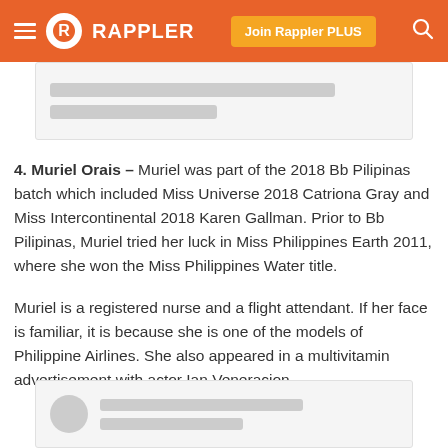Rappler
[Figure (other): Blurred/redacted content card placeholder at top]
4. Muriel Orais – Muriel was part of the 2018 Bb Pilipinas batch which included Miss Universe 2018 Catriona Gray and Miss Intercontinental 2018 Karen Gallman. Prior to Bb Pilipinas, Muriel tried her luck in Miss Philippines Earth 2011, where she won the Miss Philippines Water title.
Muriel is a registered nurse and a flight attendant. If her face is familiar, it is because she is one of the models of Philippine Airlines. She also appeared in a multivitamin advertisement with actor Ian Veneracion.
[Figure (other): Blurred/redacted content card placeholder at bottom]